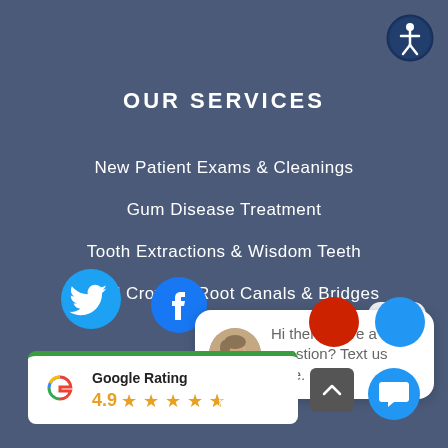[Figure (logo): Accessibility icon - circle with person figure, white on dark blue background, top right corner]
OUR SERVICES
New Patient Exams & Cleanings
Gum Disease Treatment
Tooth Extractions & Wisdom Teeth
Dental Crowns, Root Canals & Bridges
[Figure (screenshot): Twitter and Facebook social media icons in circles at bottom left area]
[Figure (screenshot): Chat popup overlay with avatar photo and text: Hi there, have a question? Text us here. With a close button.]
[Figure (screenshot): Google Rating widget showing 4.9 stars with Google G logo, green top border]
[Figure (screenshot): Scroll up button (dark gray) and chat button (blue circle with chat icon) at bottom right]